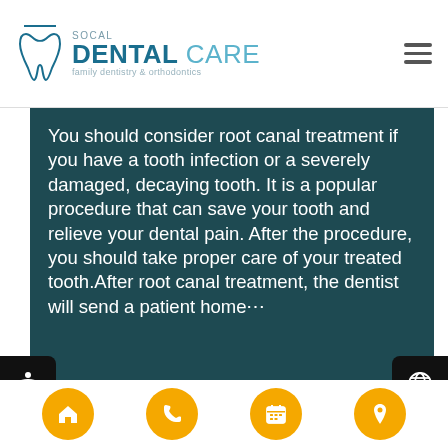[Figure (logo): SoCal Dental Care logo with tooth icon, 'DENTAL CARE' text, and 'family dentistry & orthodontics' tagline]
You should consider root canal treatment if you have a tooth infection or a severely damaged, decaying tooth. It is a popular procedure that can save your tooth and relieve your dental pain. After the procedure, you should take proper care of your treated tooth.After root canal treatment, the dentist will send a patient home⋯
[Figure (photo): A woman lying in a dental chair receiving dental treatment from a dentist in a white coat]
Navigation bar with home, phone, calendar, and location icons